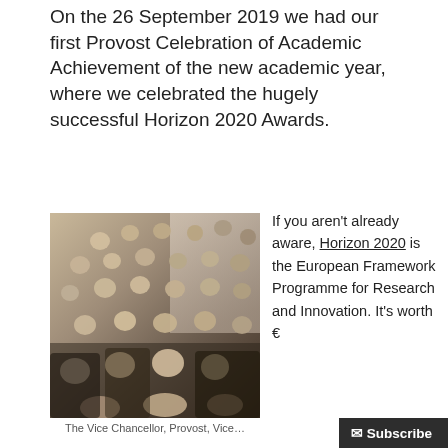On the 26 September 2019 we had our first Provost Celebration of Academic Achievement of the new academic year, where we celebrated the hugely successful Horizon 2020 Awards.
[Figure (photo): Group photo of approximately 20 people posing together on a staircase in a venue with marble walls and ornate railings.]
The Vice Chancellor, Provost, Vice...
If you aren't already aware, Horizon 2020 is the European Framework Programme for Research and Innovation. It's worth €
Subscribe